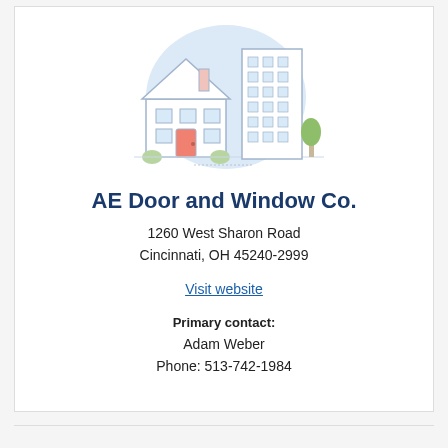[Figure (illustration): Illustration of commercial and residential buildings — a house and a tall office building on a light blue circular background]
AE Door and Window Co.
1260 West Sharon Road
Cincinnati, OH 45240-2999
Visit website
Primary contact:
Adam Weber
Phone: 513-742-1984